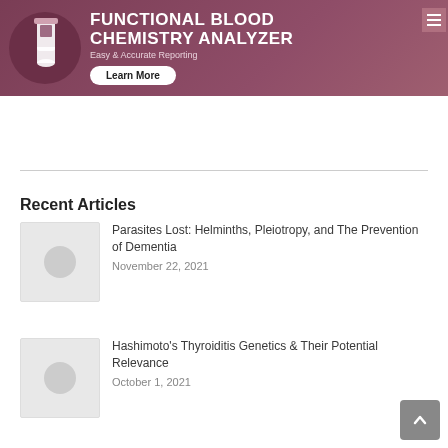[Figure (illustration): Banner advertisement for Functional Blood Chemistry Analyzer with maroon/purple background, test tube icon on left, title text, subtitle 'Easy & Accurate Reporting', and 'Learn More' button. Menu icon in top right corner.]
Recent Articles
[Figure (photo): Thumbnail placeholder image with gray background and circular icon for article about Parasites Lost]
Parasites Lost: Helminths, Pleiotropy, and The Prevention of Dementia
November 22, 2021
[Figure (photo): Thumbnail placeholder image with gray background and circular icon for article about Hashimoto's Thyroiditis]
Hashimoto's Thyroiditis Genetics & Their Potential Relevance
October 1, 2021